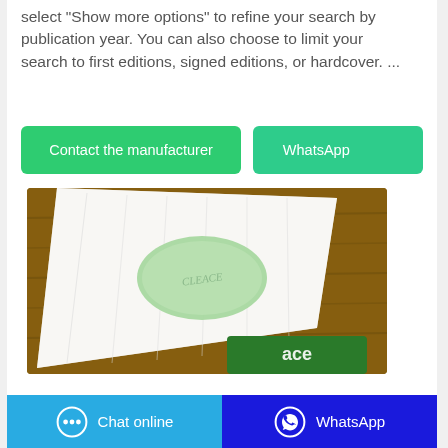select "Show more options" to refine your search by publication year. You can also choose to limit your search to first editions, signed editions, or hardcover. ...
[Figure (other): Two green buttons side by side: 'Contact the manufacturer' and 'WhatsApp']
[Figure (photo): Photo of a green oval soap bar on a white towel on a wooden surface, with a green soap package partially visible below.]
[Figure (other): Bottom bar with two buttons: 'Chat online' (blue, with chat icon) and 'WhatsApp' (dark blue, with WhatsApp icon).]